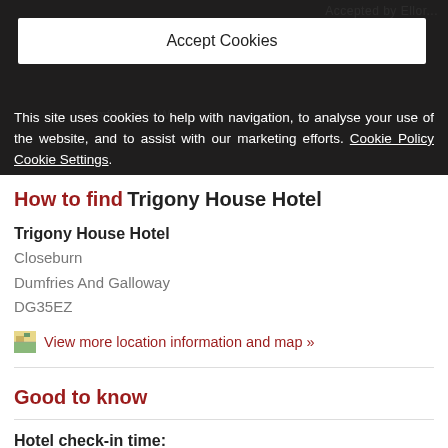[Figure (screenshot): Cookie consent overlay banner on a dark background showing a website screenshot. A white box titled 'Accept Cookies' appears at the top, with text below about cookie usage.]
This site uses cookies to help with navigation, to analyse your use of the website, and to assist with our marketing efforts. Cookie Policy Cookie Settings.
How to find Trigony House Hotel
Trigony House Hotel
Closeburn
Dumfries And Galloway
DG35EZ
View more location information and map »
Good to know
Hotel check-in time: